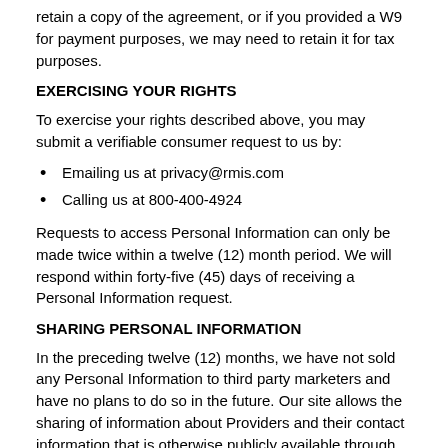retain a copy of the agreement, or if you provided a W9 for payment purposes, we may need to retain it for tax purposes.
EXERCISING YOUR RIGHTS
To exercise your rights described above, you may submit a verifiable consumer request to us by:
Emailing us at privacy@rmis.com
Calling us at 800-400-4924
Requests to access Personal Information can only be made twice within a twelve (12) month period. We will respond within forty-five (45) days of receiving a Personal Information request.
SHARING PERSONAL INFORMATION
In the preceding twelve (12) months, we have not sold any Personal Information to third party marketers and have no plans to do so in the future. Our site allows the sharing of information about Providers and their contact information that is otherwise publicly available through other means or voluntarily disclosed by a Provider, but in a user-friendly format, with RMIS’ Clients. By using RMIS services Providers expressly consent to this. While RMIS does not sell or share your Personal Information to third party marketing companies or our Clients, the exact content of RMIS’